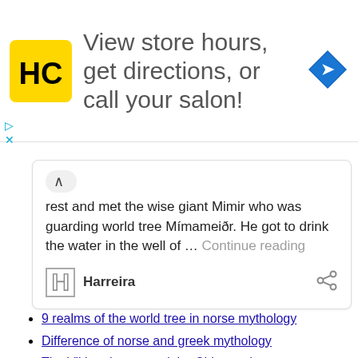[Figure (infographic): Advertisement banner for a hair salon service: yellow HC logo square, text 'View store hours, get directions, or call your salon!', blue diamond navigation arrow icon on the right.]
rest and met the wise giant Mimir who was guarding world tree Mímameiðr. He got to drink the water in the well of … Continue reading
Harreira
9 realms of the world tree in norse mythology
Difference of norse and greek mythology
The Viking dragon and the Chinese dragon
The Influence of Ancient Greek Mythology Upon Western Culture
8 legged horse sleipnir in norse mythology
who is the god of war in norse mythology